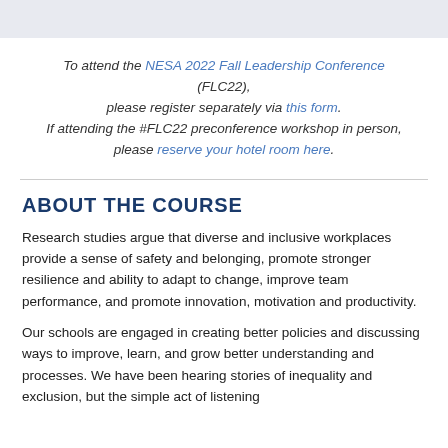To attend the NESA 2022 Fall Leadership Conference (FLC22), please register separately via this form. If attending the #FLC22 preconference workshop in person, please reserve your hotel room here.
ABOUT THE COURSE
Research studies argue that diverse and inclusive workplaces provide a sense of safety and belonging, promote stronger resilience and ability to adapt to change, improve team performance, and promote innovation, motivation and productivity.
Our schools are engaged in creating better policies and discussing ways to improve, learn, and grow better understanding and processes. We have been hearing stories of inequality and exclusion, but the simple act of listening